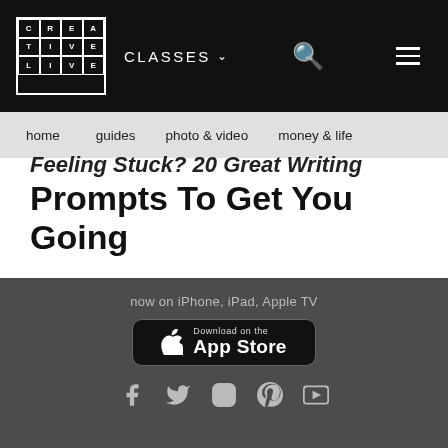[Figure (logo): CreativeLive logo — 3x4 grid of cells spelling CREA/TIVE/LIVE with white borders on black background]
CLASSES ▾
Navigation bar with search icon and hamburger menu
home  guides  photo & video  money & life
Feeling Stuck? 20 Great Writing Prompts To Get You Going
I recently had a severely long and drawn-out bout of the dreaded disease known as Writer's Block. By the end...
now on iPhone, iPad, Apple TV
[Figure (other): Download on the App Store button (black with Apple logo)]
Social icons: Facebook, Twitter, Instagram, Pinterest, YouTube